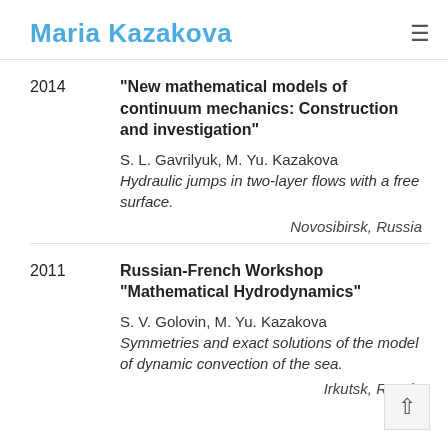Maria Kazakova
2014 | "New mathematical models of continuum mechanics: Construction and investigation" | S. L. Gavrilyuk, M. Yu. Kazakova | Hydraulic jumps in two-layer flows with a free surface. | Novosibirsk, Russia
2011 | Russian-French Workshop "Mathematical Hydrodynamics" | S. V. Golovin, M. Yu. Kazakova | Symmetries and exact solutions of the model of dynamic convection of the sea. | Irkutsk, Russia